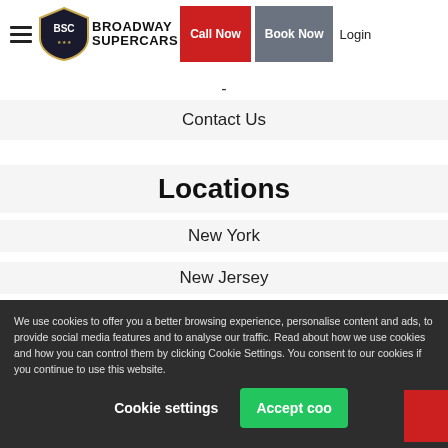Broadway Supercars — Call Now | Book Now | Login
-
Contact Us
Locations
New York
New Jersey
We use cookies to offer you a better browsing experience, personalise content and ads, to provide social media features and to analyse our traffic. Read about how we use cookies and how you can control them by clicking Cookie Settings. You consent to our cookies if you continue to use this website.
Cookie settings
Accept coo